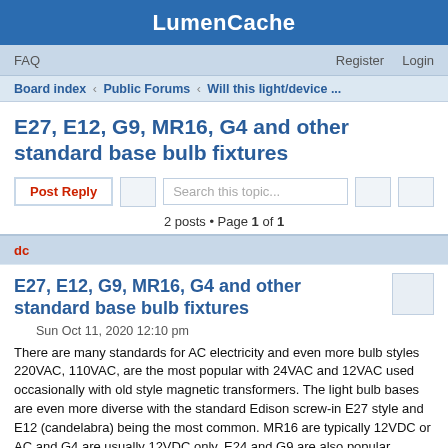LumenCache
FAQ    Register    Login
Board index ‹ Public Forums ‹ Will this light/device ...
E27, E12, G9, MR16, G4 and other standard base bulb fixtures
Post Reply    Search this topic...    2 posts • Page 1 of 1
dc
E27, E12, G9, MR16, G4 and other standard base bulb fixtures
Sun Oct 11, 2020 12:10 pm
There are many standards for AC electricity and even more bulb styles 220VAC, 110VAC, are the most popular with 24VAC and 12VAC used occasionally with old style magnetic transformers. The light bulb bases are even more diverse with the standard Edison screw-in E27 style and E12 (candelabra) being the most common. MR16 are typically 12VDC or AC and G4 are usually 12VDC only. E24 and G9 are also popular.